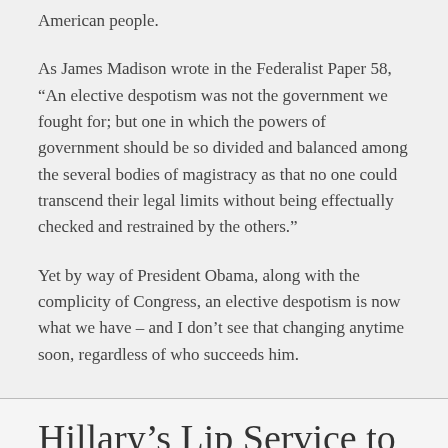American people.
As James Madison wrote in the Federalist Paper 58, “An elective despotism was not the government we fought for; but one in which the powers of government should be so divided and balanced among the several bodies of magistracy as that no one could transcend their legal limits without being effectually checked and restrained by the others.”
Yet by way of President Obama, along with the complicity of Congress, an elective despotism is now what we have – and I don’t see that changing anytime soon, regardless of who succeeds him.
Hillary’s Lip Service to